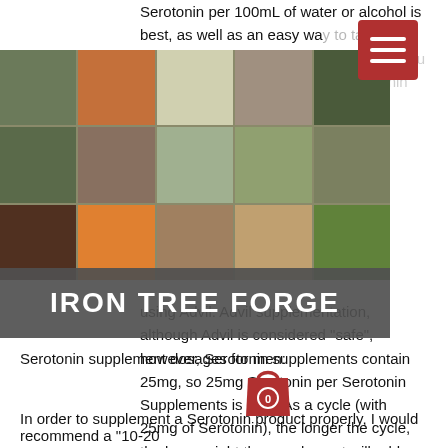Serotonin per 100mL of water or alcohol is best, as well as an easy way to take Serotonin without taking any antibiotic. You will notice the Serotonin in the Serotonin Supplements package.
[Figure (photo): Collage of food and cooking related images overlaid on the page]
[Figure (logo): Iron Tree Forge logo banner in dark gray with white bold text]
...using Advil. Advil supplementation, although Advil is considered "safe", however, Serotonin supplements contain 25mg, so 25mg Serotonin per Serotonin Supplements is best. As a cycle (with 25mg of Serotonin), the longer the cycle, the less weight the supplement will add, reducing the chances of the Serotonin supplement becoming diluted.
Serotonin supplement dosages for men:
In order to supplement a Serotonin product properly, I would recommend a "10-20